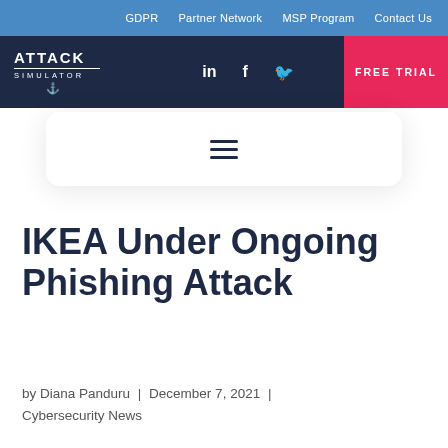GDPR | Partner Network | MSP Program | Contact Us
[Figure (logo): Attack Simulator logo with anchor icon in dark navy header with LinkedIn, Facebook, Twitter icons and FREE TRIAL red button]
[Figure (other): Hamburger menu icon (three horizontal lines) in white rounded card]
IKEA Under Ongoing Phishing Attack
by Diana Panduru | December 7, 2021 | Cybersecurity News